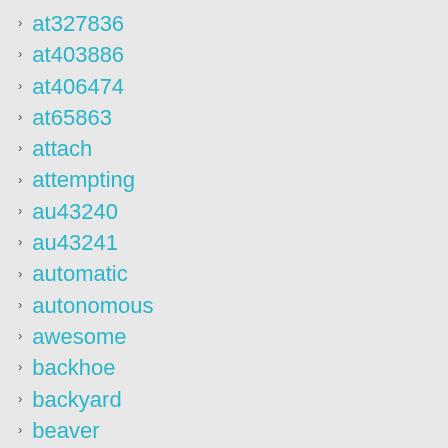at327836
at403886
at406474
at65863
attach
attempting
au43240
au43241
automatic
autonomous
awesome
backhoe
backyard
beaver
belt
berco
best
bf7675-d
biggest